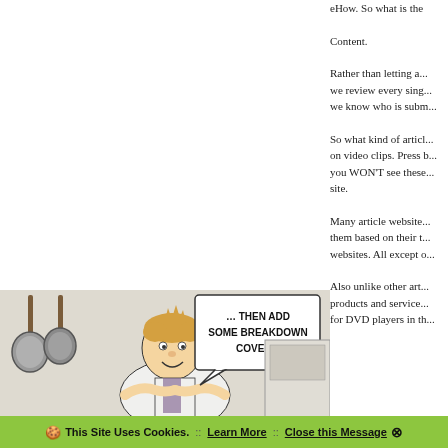eHow. So what is the
Content.
Rather than letting a... we review every sing... we know who is subm...
So what kind of articl... on video clips. Press b... you WON'T see these... site.
[Figure (illustration): Cartoon illustration of a chef in a kitchen with speech bubble reading '… THEN ADD SOME BREAKDOWN COVER…']
Many article website... them based on their t... websites. All except o...
Also unlike other art... products and service... for DVD players in th...
This Site Uses Cookies.  ::  Learn More  ::  Close this Message ⊗